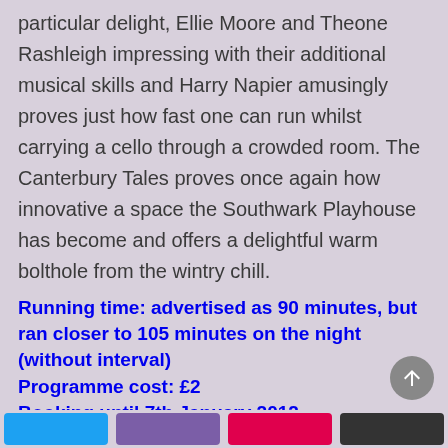particular delight, Ellie Moore and Theone Rashleigh impressing with their additional musical skills and Harry Napier amusingly proves just how fast one can run whilst carrying a cello through a crowded room. The Canterbury Tales proves once again how innovative a space the Southwark Playhouse has become and offers a delightful warm bolthole from the wintry chill.
Running time: advertised as 90 minutes, but ran closer to 105 minutes on the night (without interval)
Programme cost: £2
Booking until 7th January 2012
Note: if you're not a fan of audience participation – of which there is only the very mildest variety here – then avoid sitting in the front row